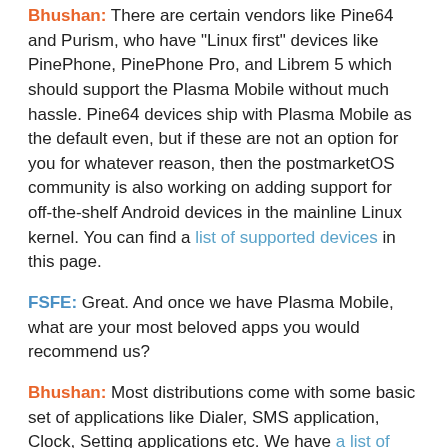Bhushan: There are certain vendors like Pine64 and Purism, who have "Linux first" devices like PinePhone, PinePhone Pro, and Librem 5 which should support the Plasma Mobile without much hassle. Pine64 devices ship with Plasma Mobile as the default even, but if these are not an option for you for whatever reason, then the postmarketOS community is also working on adding support for off-the-shelf Android devices in the mainline Linux kernel. You can find a list of supported devices in this page.
FSFE: Great. And once we have Plasma Mobile, what are your most beloved apps you would recommend us?
Bhushan: Most distributions come with some basic set of applications like Dialer, SMS application, Clock, Setting applications etc. We have a list of applications on the Plasma Mobile website that you can go through.
My personal favourite, however, if you ask, is KDE connect for interacting and controlling other devices using Plasma Mobile devices ☺